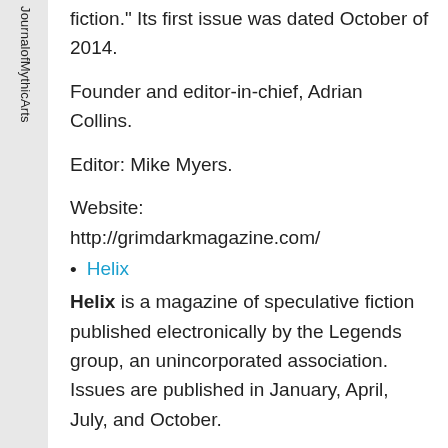terGalacticMedicineShow JournalofMythicArts M
fiction." Its first issue was dated October of 2014.
Founder and editor-in-chief, Adrian Collins.
Editor: Mike Myers.
Website:
http://grimdarkmagazine.com/
Helix
Helix is a magazine of speculative fiction published electronically by the Legends group, an unincorporated association. Issues are published in January, April, July, and October.
Website: www.helixsf.com